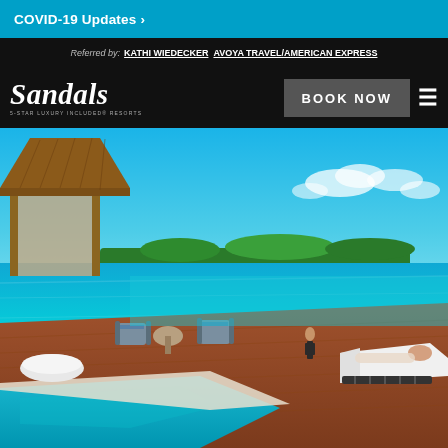COVID-19 Updates >
Referred by: KATHI WIEDECKER AVOYA TRAVEL/AMERICAN EXPRESS
[Figure (logo): Sandals 5-Star Luxury Included Resorts logo in white italic script on black background]
BOOK NOW
[Figure (photo): Luxury overwater bungalow resort photo showing a thatched-roof villa, wooden deck over turquoise water, lounge chairs, a woman standing at the edge, and a private pool in the foreground with a tropical island in the background]